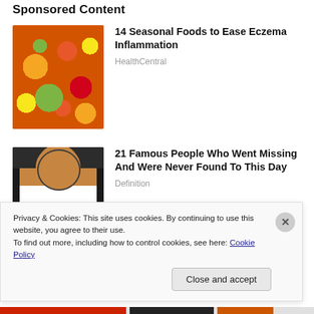Sponsored Content
[Figure (photo): Colorful assortment of fresh fruits and vegetables]
14 Seasonal Foods to Ease Eczema Inflammation
HealthCentral
[Figure (photo): Person wearing a Chicago Bulls basketball jersey]
21 Famous People Who Went Missing And Were Never Found To This Day
Definition
Privacy & Cookies: This site uses cookies. By continuing to use this website, you agree to their use.
To find out more, including how to control cookies, see here: Cookie Policy
Close and accept